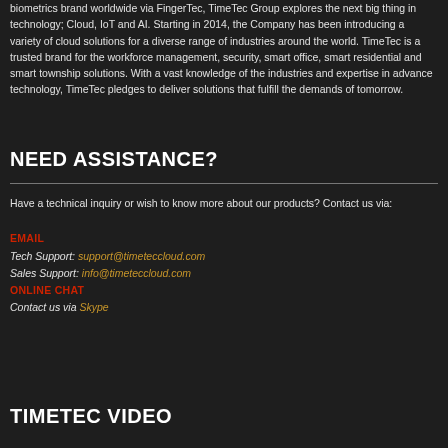biometrics brand worldwide via FingerTec, TimeTec Group explores the next big thing in technology; Cloud, IoT and AI. Starting in 2014, the Company has been introducing a variety of cloud solutions for a diverse range of industries around the world. TimeTec is a trusted brand for the workforce management, security, smart office, smart residential and smart township solutions. With a vast knowledge of the industries and expertise in advance technology, TimeTec pledges to deliver solutions that fulfill the demands of tomorrow.
NEED ASSISTANCE?
Have a technical inquiry or wish to know more about our products? Contact us via:
EMAIL
Tech Support: support@timeteccloud.com
Sales Support: info@timeteccloud.com
ONLINE CHAT
Contact us via Skype
TIMETEC VIDEO